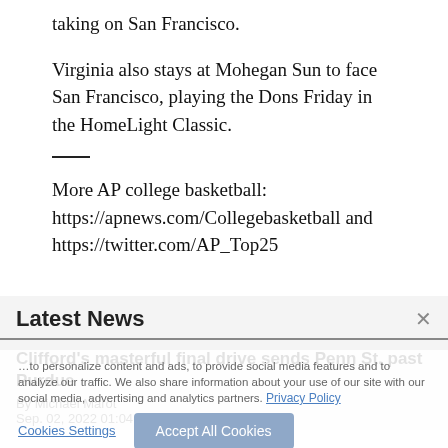taking on San Francisco.
Virginia also stays at Mohegan Sun to face San Francisco, playing the Dons Friday in the HomeLight Classic.
More AP college basketball: https://apnews.com/Collegebasketball and https://twitter.com/AP_Top25
Latest News
Clifford's masterful final drive sends Penn St. past Purdue
By Michael Marot
Sep. 02, 2022 01:04 AM EDT
Northern Arizona's Bursar building toward a bigger
We use cookies to personalize content and ads, to provide social media features and to analyze our traffic. We also share information about your use of our site with our social media, advertising and analytics partners. Privacy Policy
Accept All Cookies
Cookies Settings